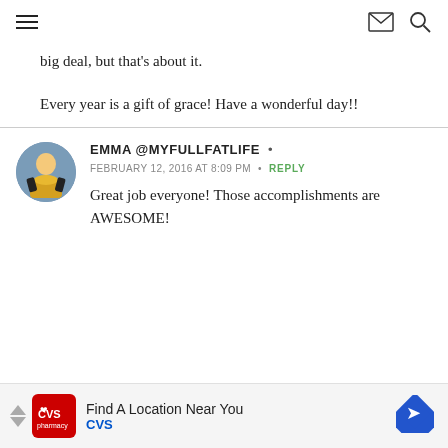navigation header with hamburger menu, mail icon, and search icon
big deal, but that's about it.
Every year is a gift of grace! Have a wonderful day!!
EMMA @MYFULLFATLIFE •
FEBRUARY 12, 2016 AT 8:09 PM • REPLY
Great job everyone! Those accomplishments are AWESOME!
[Figure (other): CVS pharmacy advertisement banner: Find A Location Near You, CVS]